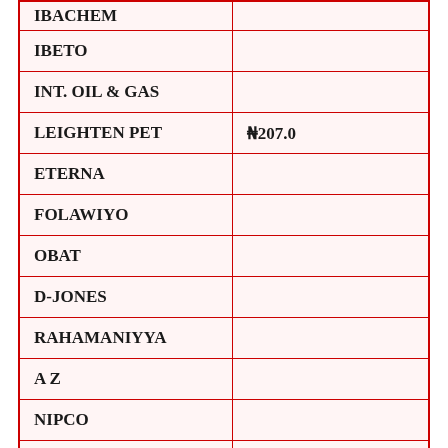| IBACHEM |  |
| IBETO |  |
| INT. OIL & GAS |  |
| LEIGHTEN PET | ₦207.0 |
| ETERNA |  |
| FOLAWIYO |  |
| OBAT |  |
| D-JONES |  |
| RAHAMANIYYA |  |
| A Z |  |
| NIPCO |  |
| AITEO |  |
| AIPEC |  |
| STAR SNERGY |  |